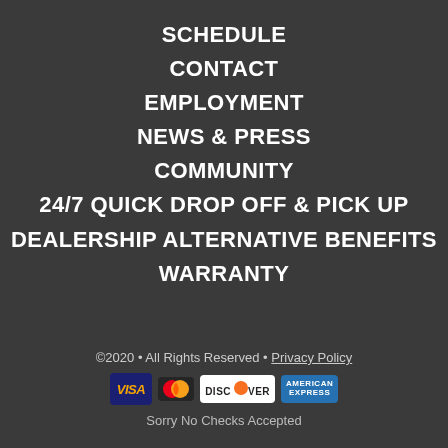SCHEDULE
CONTACT
EMPLOYMENT
NEWS & PRESS
COMMUNITY
24/7 QUICK DROP OFF & PICK UP
DEALERSHIP ALTERNATIVE BENEFITS
WARRANTY
©2020 • All Rights Reserved • Privacy Policy
[Figure (logo): Payment method icons: VISA, MasterCard, Discover, American Express]
Sorry No Checks Accepted